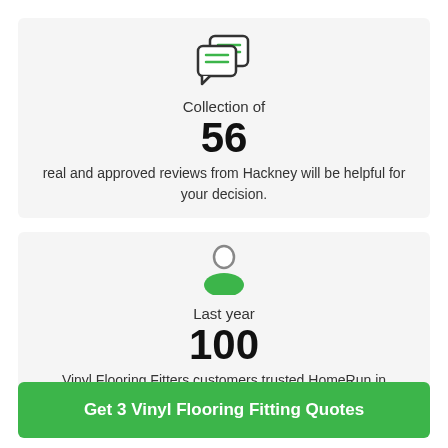[Figure (illustration): Chat bubbles icon with green lines inside, outlined in dark grey]
Collection of
56
real and approved reviews from Hackney will be helpful for your decision.
[Figure (illustration): Person/user icon: grey outlined head circle with green body/shoulders]
Last year
100
Vinyl Flooring Fitters customers trusted HomeRun in Hackney.
Get 3 Vinyl Flooring Fitting Quotes